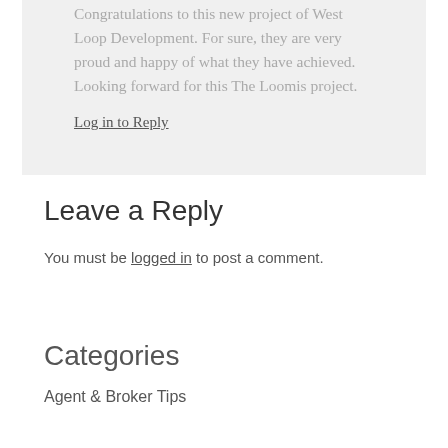Congratulations to this new project of West Loop Development. For sure, they are very proud and happy of what they have achieved. Looking forward for this The Loomis project.
Log in to Reply
Leave a Reply
You must be logged in to post a comment.
Categories
Agent & Broker Tips